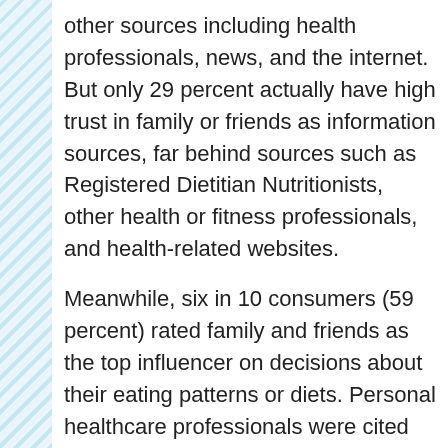other sources including health professionals, news, and the internet. But only 29 percent actually have high trust in family or friends as information sources, far behind sources such as Registered Dietitian Nutritionists, other health or fitness professionals, and health-related websites.
Meanwhile, six in 10 consumers (59 percent) rated family and friends as the top influencer on decisions about their eating patterns or diets. Personal healthcare professionals were cited by 55 percent of consumers, while all other sources rated only in the single digits.
The Health Halo Effect
The Food and Health Survey also suggests that consumers might be paying too much or making flawed decisions about nutrition because of non-